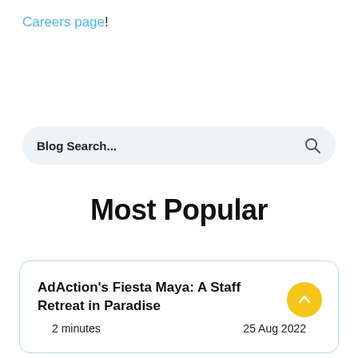Careers page!
[Figure (other): Blog search input field with search icon on right]
Most Popular
AdAction's Fiesta Maya: A Staff Retreat in Paradise
2 minutes
25 Aug 2022